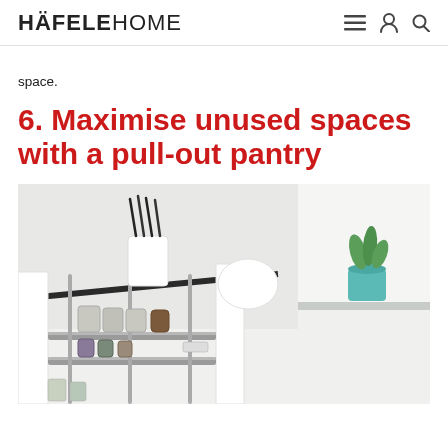HÄFELE HOME
space.
6. Maximise unused spaces with a pull-out pantry
[Figure (photo): A pull-out pantry cabinet with chrome wire shelves extended from white kitchen cabinetry, showing jars and canisters on shelves, a knife block on top, and a potted green plant visible in the background on a bright kitchen counter.]